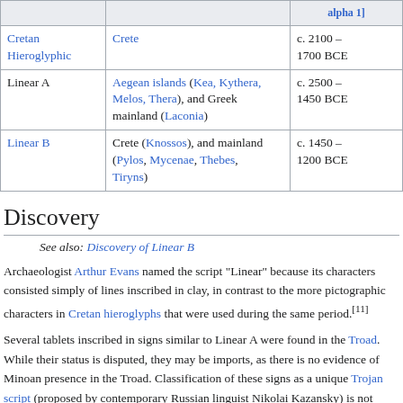|  |  | alpha 1] |
| --- | --- | --- |
| Cretan Hieroglyphic | Crete | c. 2100 – 1700 BCE |
| Linear A | Aegean islands (Kea, Kythera, Melos, Thera), and Greek mainland (Laconia) | c. 2500 – 1450 BCE |
| Linear B | Crete (Knossos), and mainland (Pylos, Mycenae, Thebes, Tiryns) | c. 1450 – 1200 BCE |
Discovery
See also: Discovery of Linear B
Archaeologist Arthur Evans named the script "Linear" because its characters consisted simply of lines inscribed in clay, in contrast to the more pictographic characters in Cretan hieroglyphs that were used during the same period.[11]
Several tablets inscribed in signs similar to Linear A were found in the Troad. While their status is disputed, they may be imports, as there is no evidence of Minoan presence in the Troad. Classification of these signs as a unique Trojan script (proposed by contemporary Russian linguist Nikolai Kazansky) is not accepted by